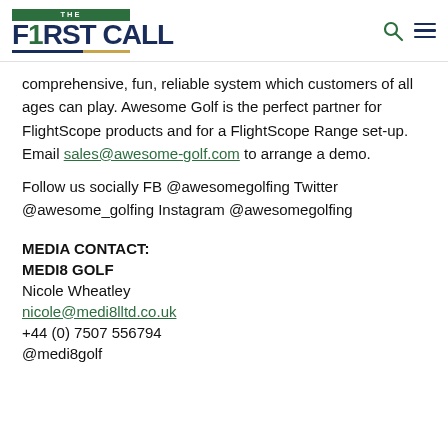THE F1RST CALL
comprehensive, fun, reliable system which customers of all ages can play. Awesome Golf is the perfect partner for FlightScope products and for a FlightScope Range set-up. Email sales@awesome-golf.com to arrange a demo.
Follow us socially FB @awesomegolfing Twitter @awesome_golfing Instagram @awesomegolfing
MEDIA CONTACT:
MEDI8 GOLF
Nicole Wheatley
nicole@medi8lltd.co.uk
+44 (0) 7507 556794
@medi8golf